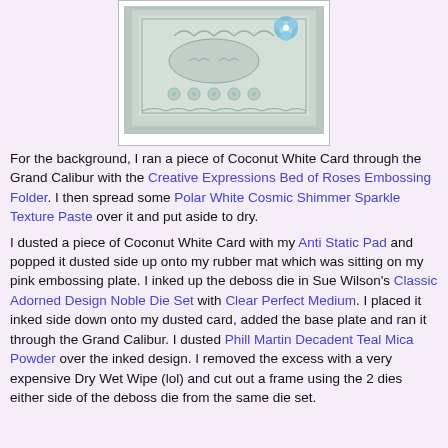[Figure (photo): A crafted card with embossed floral designs in teal/white, featuring a decorative frame, flower border, and a blue flower embellishment in the top right corner.]
For the background, I ran a piece of Coconut White Card through the Grand Calibur with the Creative Expressions Bed of Roses Embossing Folder. I then spread some Polar White Cosmic Shimmer Sparkle Texture Paste over it and put aside to dry.
I dusted a piece of Coconut White Card with my Anti Static Pad and popped it dusted side up onto my rubber mat which was sitting on my pink embossing plate. I inked up the deboss die in Sue Wilson's Classic Adorned Design Noble Die Set with Clear Perfect Medium. I placed it inked side down onto my dusted card, added the base plate and ran it through the Grand Calibur. I dusted Phill Martin Decadent Teal Mica Powder over the inked design. I removed the excess with a very expensive Dry Wet Wipe (lol) and cut out a frame using the 2 dies either side of the deboss die from the same die set.